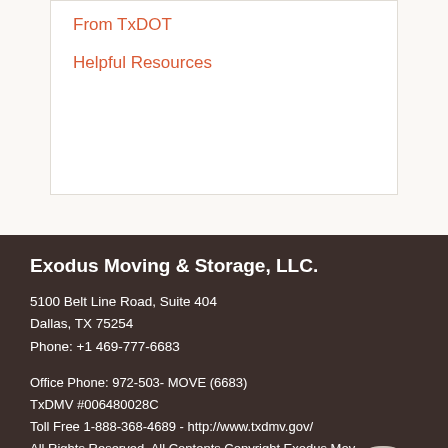From TxDOT
Helpful Resources
Exodus Moving & Storage, LLC.
5100 Belt Line Road, Suite 404
Dallas, TX 75254
Phone: +1 469-777-6683
Office Phone: 972-503- MOVE (6683)
TxDMV #006480028C
Toll Free 1-888-368-4689 - http://www.txdmv.gov/
All Rights Reserved. All Contents Copyright Exodus Moving & Storage © 2020
Local Website Design & Web Marketing by Eri
972.591.1336
[Figure (photo): Circular portrait photo of a woman with long blonde hair, smiling]
Resources